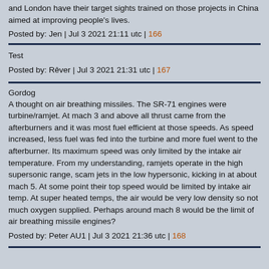and London have their target sights trained on those projects in China aimed at improving people's lives.
Posted by: Jen | Jul 3 2021 21:11 utc | 166
Test
Posted by: Rêver | Jul 3 2021 21:31 utc | 167
Gordog
A thought on air breathing missiles. The SR-71 engines were turbine/ramjet. At mach 3 and above all thrust came from the afterburners and it was most fuel efficient at those speeds. As speed increased, less fuel was fed into the turbine and more fuel went to the afterburner. Its maximum speed was only limited by the intake air temperature. From my understanding, ramjets operate in the high supersonic range, scam jets in the low hypersonic, kicking in at about mach 5. At some point their top speed would be limited by intake air temp. At super heated temps, the air would be very low density so not much oxygen supplied. Perhaps around mach 8 would be the limit of air breathing missile engines?
Posted by: Peter AU1 | Jul 3 2021 21:36 utc | 168